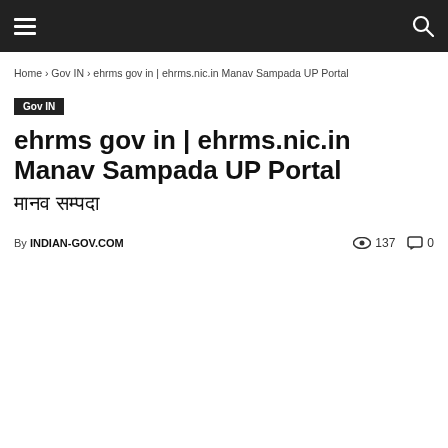Home › Gov IN › ehrms gov in | ehrms.nic.in Manav Sampada UP Portal
Gov IN
ehrms gov in | ehrms.nic.in Manav Sampada UP Portal
मानव सम्पदा
By INDIAN-GOV.COM   137   0